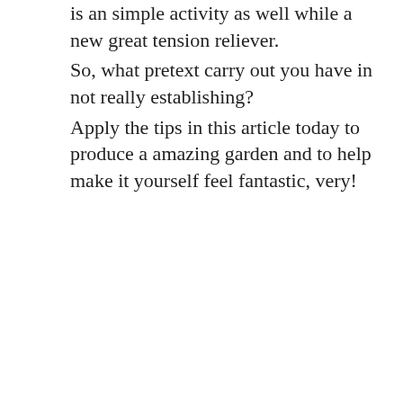is an simple activity as well while a new great tension reliever.
So, what pretext carry out you have in not really establishing?
Apply the tips in this article today to produce a amazing garden and to help make it yourself feel fantastic, very!
★ Like
Reply
Privacy & Cookies: This site uses cookies. By continuing to use this website, you agree to their use.
To find out more, including how to control cookies, see here:
Cookie Policy
Close and accept